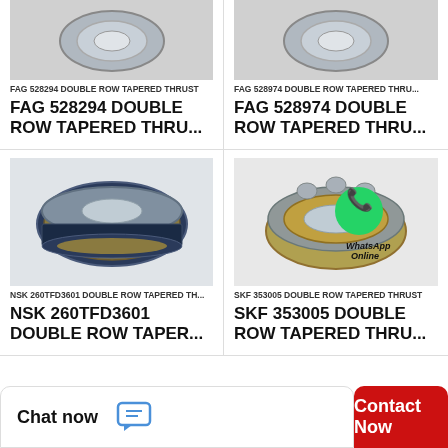[Figure (photo): FAG 528294 double row tapered thrust bearing product image (top, partially visible)]
[Figure (photo): FAG 528974 double row tapered thrust bearing product image (top, partially visible)]
FAG 528294 DOUBLE ROW TAPERED THRUST
FAG 528974 DOUBLE ROW TAPERED THRU...
FAG 528294 DOUBLE ROW TAPERED THRU...
FAG 528974 DOUBLE ROW TAPERED THRU...
[Figure (photo): NSK 260TFD3601 double row tapered thrust bearing - blue/silver cylindrical bearing assembly]
[Figure (photo): SKF 353005 double row tapered thrust bearing with WhatsApp Online overlay]
NSK 260TFD3601 DOUBLE ROW TAPERED TH...
SKF 353005 DOUBLE ROW TAPERED THRUST
NSK 260TFD3601 DOUBLE ROW TAPER...
SKF 353005 DOUBLE ROW TAPERED THRU...
Chat now
Contact Now